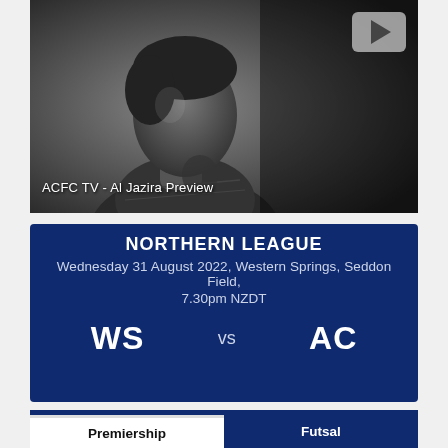[Figure (photo): Black and white photo of a football player in profile view with a YouTube-style play button overlay in the top right corner. Text overlay reads 'ACFC TV - Al Jazira Preview'.]
ACFC TV - Al Jazira Preview
NORTHERN LEAGUE
Wednesday 31 August 2022, Western Springs, Seddon Field,
7.30pm NZDT
WS vs AC
PLAYER PROFILES
Premiership
Futsal